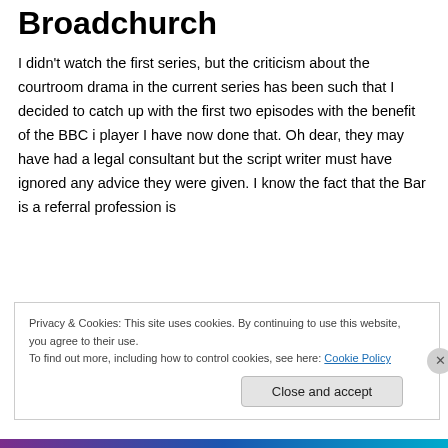Broadchurch
I didn't watch the first series, but the criticism about the courtroom drama in the current series has been such that I decided to catch up with the first two episodes with the benefit of the BBC i player I have now done that. Oh dear, they may have had a legal consultant but the script writer must have ignored any advice they were given. I know the fact that the Bar is a referral profession is
[Figure (photo): Two men in suits standing in front of a cliff face with a blue sky background, likely a promotional photo from the TV show Broadchurch]
Privacy & Cookies: This site uses cookies. By continuing to use this website, you agree to their use.
To find out more, including how to control cookies, see here: Cookie Policy
Close and accept